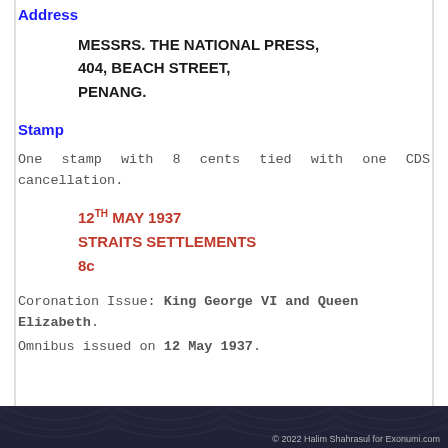Address
MESSRS. THE NATIONAL PRESS,
404, BEACH STREET,
PENANG.
Stamp
One stamp with 8 cents tied with one CDS cancellation.
12TH MAY 1937
STRAITS SETTLEMENTS
8c
Coronation Issue: King George VI and Queen Elizabeth.
Omnibus issued on 12 May 1937.
© 2022 Halim Shahrasul for Exonumi.com